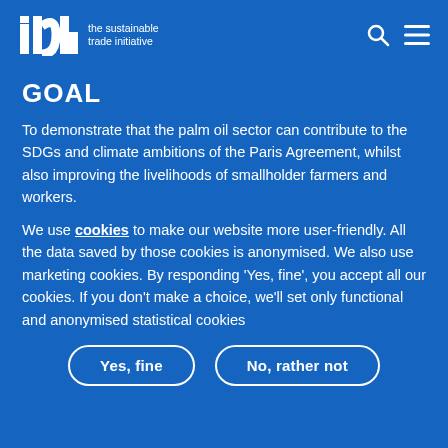IDH the sustainable trade initiative
GOAL
To demonstrate that the palm oil sector can contribute to the SDGs and climate ambitions of the Paris Agreement, whilst also improving the livelihoods of smallholder farmers and workers.
We use cookies to make our website more user-friendly. All the data saved by those cookies is anonymised. We also use marketing cookies. By responding ‘Yes, fine’, you accept all our cookies. If you don’t make a choice, we’ll set only functional and anonymised statistical cookies
Yes, fine
No, rather not